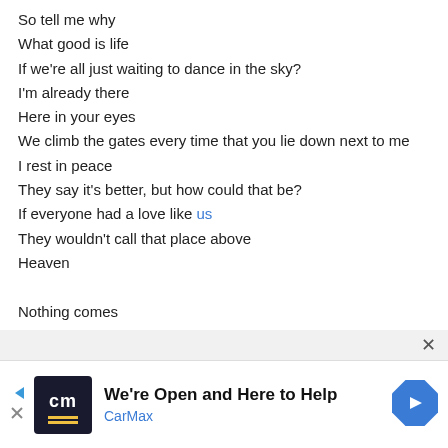So tell me why
What good is life
If we're all just waiting to dance in the sky?
I'm already there
Here in your eyes
We climb the gates every time that you lie down next to me
I rest in peace
They say it's better, but how could that be?
If everyone had a love like us
They wouldn't call that place above
Heaven

Nothing comes
Nothing comes close to this
Looking up
[Figure (screenshot): CarMax advertisement banner: dark navy logo with 'cm' and yellow lines, headline 'We're Open and Here to Help', subline 'CarMax', blue diamond arrow icon on right, play/close icons on left]